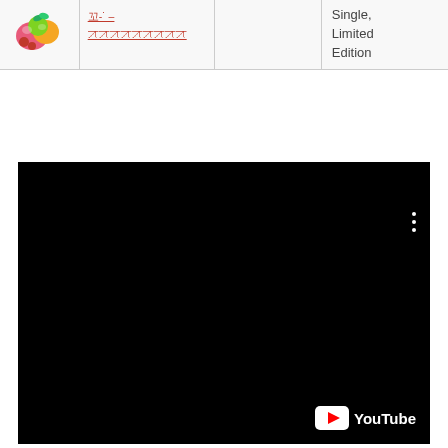|  |  |  |  |
| --- | --- | --- | --- |
| [fruit image] | 꼬-˙ – ꠀꠀꠀꠀꠀꠀꠀꠀꠀ |  | Single, Limited Edition |
[Figure (screenshot): Black video player area with YouTube logo in the bottom right corner and three white vertical dots menu icon in the upper right.]